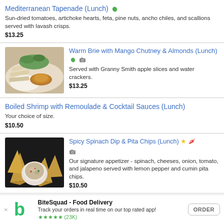Mediterranean Tapenade (Lunch) | Sun-dried tomatoes, artichoke hearts, feta, pine nuts, ancho chiles, and scallions served with lavash crisps. | $13.25
[Figure (photo): Food photo showing warm brie with mango chutney and almonds, with apple slices and crackers on a plate]
Warm Brie with Mango Chutney & Almonds (Lunch) | Served with Granny Smith apple slices and water crackers. | $13.25
Boiled Shrimp with Remoulade & Cocktail Sauces (Lunch) | Your choice of size. | $10.50
[Figure (photo): Food photo showing spicy spinach dip in a white bowl surrounded by pita chips on a dark background]
Spicy Spinach Dip & Pita Chips (Lunch) | Our signature appetizer - spinach, cheeses, onion, tomato, and jalapeno served with lemon pepper and cumin pita chips. | $10.50
BiteSquad - Food Delivery | Track your orders in real time on our top rated app! | ★★★★★ (23K) | ORDER